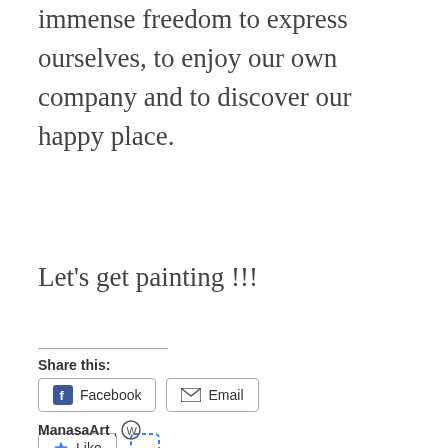immense freedom to express ourselves, to enjoy our own company and to discover our happy place.
Let's get painting !!!
Share this:
Facebook  Email
Like  One blogger likes this.
ManasaArt,